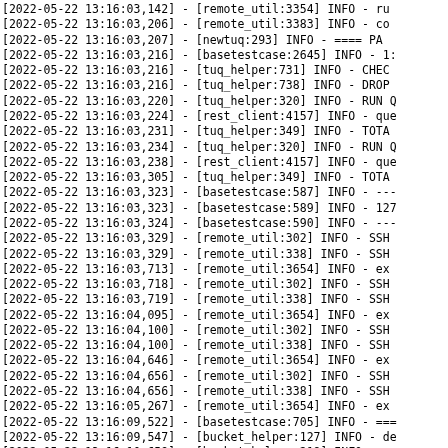[2022-05-22 13:16:03,142] - [remote_util:3354] INFO - ru
[2022-05-22 13:16:03,206] - [remote_util:3383] INFO - co
[2022-05-22 13:16:03,207] - [newtuq:293] INFO - ==== PA
[2022-05-22 13:16:03,216] - [basetestcase:2645] INFO - 1:
[2022-05-22 13:16:03,216] - [tuq_helper:731] INFO - CHEC
[2022-05-22 13:16:03,216] - [tuq_helper:738] INFO - DROP
[2022-05-22 13:16:03,220] - [tuq_helper:320] INFO - RUN Q
[2022-05-22 13:16:03,224] - [rest_client:4157] INFO - que
[2022-05-22 13:16:03,231] - [tuq_helper:349] INFO - TOTA
[2022-05-22 13:16:03,234] - [tuq_helper:320] INFO - RUN Q
[2022-05-22 13:16:03,238] - [rest_client:4157] INFO - que
[2022-05-22 13:16:03,305] - [tuq_helper:349] INFO - TOTA
[2022-05-22 13:16:03,323] - [basetestcase:587] INFO - ---
[2022-05-22 13:16:03,323] - [basetestcase:589] INFO - 127
[2022-05-22 13:16:03,324] - [basetestcase:590] INFO - ---
[2022-05-22 13:16:03,329] - [remote_util:302] INFO - SSH
[2022-05-22 13:16:03,329] - [remote_util:338] INFO - SSH
[2022-05-22 13:16:03,713] - [remote_util:3654] INFO - ex
[2022-05-22 13:16:03,718] - [remote_util:302] INFO - SSH
[2022-05-22 13:16:03,719] - [remote_util:338] INFO - SSH
[2022-05-22 13:16:04,095] - [remote_util:3654] INFO - ex
[2022-05-22 13:16:04,100] - [remote_util:302] INFO - SSH
[2022-05-22 13:16:04,100] - [remote_util:338] INFO - SSH
[2022-05-22 13:16:04,646] - [remote_util:3654] INFO - ex
[2022-05-22 13:16:04,656] - [remote_util:302] INFO - SSH
[2022-05-22 13:16:04,656] - [remote_util:338] INFO - SSH
[2022-05-22 13:16:05,267] - [remote_util:3654] INFO - ex
[2022-05-22 13:16:09,522] - [basetestcase:705] INFO - ===
[2022-05-22 13:16:09,547] - [bucket_helper:127] INFO - de
[2022-05-22 13:16:10,659] - [bucket_helper:218] INFO - wa
[2022-05-22 13:16:10,662] - [rest_client:149] INFO - nod